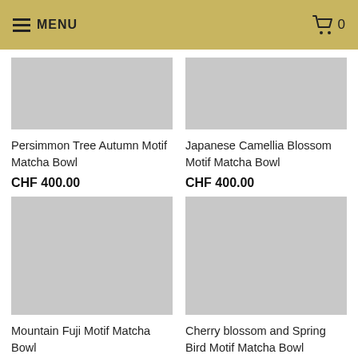MENU  0
[Figure (photo): Placeholder image for Persimmon Tree Autumn Motif Matcha Bowl]
Persimmon Tree Autumn Motif Matcha Bowl
CHF 400.00
[Figure (photo): Placeholder image for Japanese Camellia Blossom Motif Matcha Bowl]
Japanese Camellia Blossom Motif Matcha Bowl
CHF 400.00
[Figure (photo): Placeholder image for Mountain Fuji Motif Matcha Bowl]
Mountain Fuji Motif Matcha Bowl
CHF 350.00
[Figure (photo): Placeholder image for Cherry blossom and Spring Bird Motif Matcha Bowl]
Cherry blossom and Spring Bird Motif Matcha Bowl